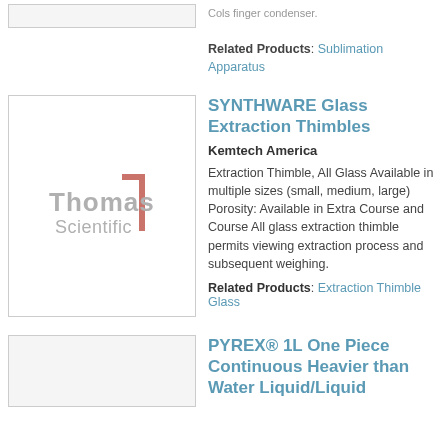Related Products: Sublimation Apparatus
SYNTHWARE Glass Extraction Thimbles
Kemtech America
Extraction Thimble, All Glass Available in multiple sizes (small, medium, large) Porosity: Available in Extra Course and Course All glass extraction thimble permits viewing extraction process and subsequent weighing.
Related Products: Extraction Thimble Glass
[Figure (logo): Thomas Scientific logo placeholder]
PYREX® 1L One Piece Continuous Heavier than Water Liquid/Liquid